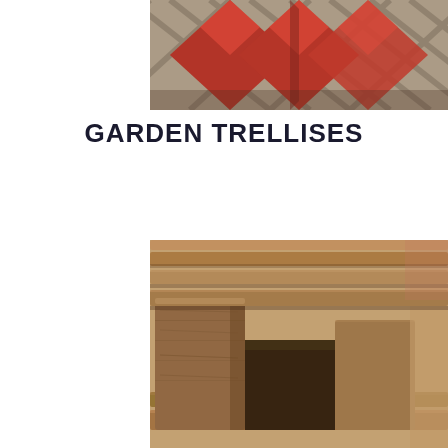[Figure (photo): Close-up photo of red diamond/lattice trellis pattern with a mesh/fence background, shot from below]
GARDEN TRELLISES
[Figure (photo): Close-up photo of stacked wooden pallets showing rough-cut timber blocks and slats, warm brown tones]